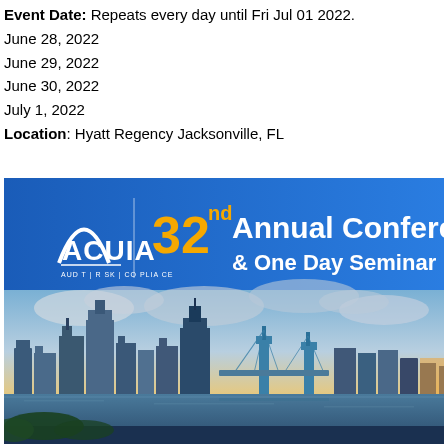Event Date: Repeats every day until Fri Jul 01 2022.
    June 28, 2022
    June 29, 2022
    June 30, 2022
    July 1, 2022
Location: Hyatt Regency Jacksonville, FL
[Figure (illustration): ACUIA 32nd Annual Conference & One Day Seminar banner image with Jacksonville FL skyline photo beneath. Banner shows ACUIA logo on blue background with text '32nd Annual Conference & One Day Seminar' and 'AUDIT | RISK | COMPLIANCE'. Below is a cityscape photo of Jacksonville FL at sunset with bridge and city skyline.]